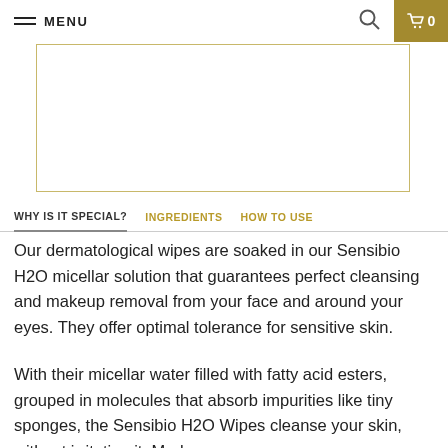MENU
[Figure (screenshot): Product image placeholder box with gold border]
WHY IS IT SPECIAL? | INGREDIENTS | HOW TO USE
Our dermatological wipes are soaked in our Sensibio H2O micellar solution that guarantees perfect cleansing and makeup removal from your face and around your eyes. They offer optimal tolerance for sensitive skin.
With their micellar water filled with fatty acid esters, grouped in molecules that absorb impurities like tiny sponges, the Sensibio H2O Wipes cleanse your skin, without irritating it. Made